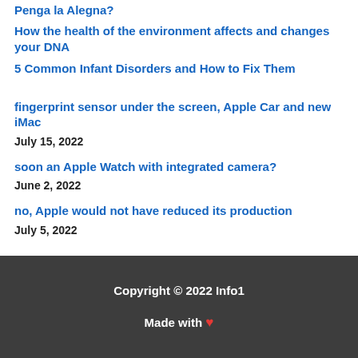Penga la Alegna? (partial, top cut off)
How the health of the environment affects and changes your DNA
5 Common Infant Disorders and How to Fix Them
fingerprint sensor under the screen, Apple Car and new iMac
July 15, 2022
soon an Apple Watch with integrated camera?
June 2, 2022
no, Apple would not have reduced its production
July 5, 2022
Copyright © 2022 Info1
Made with ❤